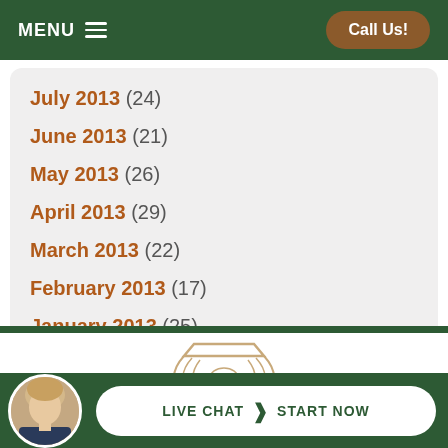MENU  |  Call Us!
July 2013 (24)
June 2013 (21)
May 2013 (26)
April 2013 (29)
March 2013 (22)
February 2013 (17)
January 2013 (25)
[Figure (logo): Decorative law firm ornamental logo, tan/beige line art of a shield or crest shape]
LIVE CHAT  START NOW